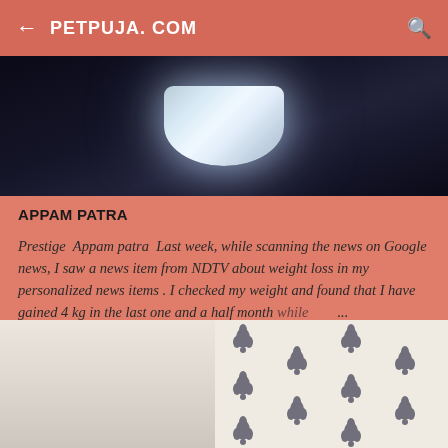← PETPUJA. COM 🔍
[Figure (photo): Dark background photo showing a metallic/silver object (appears to be an appam patra/pan) with light reflecting off it]
APPAM PATRA
Prestige  Appam patra  Last week, while scanning the news on Google news, I saw a news item from NDTV about weight loss in my personalized news items . I checked my weight and found that I have gained 4 kg in the last one and a half month while  ...
[Figure (photo): Photo showing a white wall/surface on the left and a decorative curtain with dark floral/leaf pattern on white background on the right]